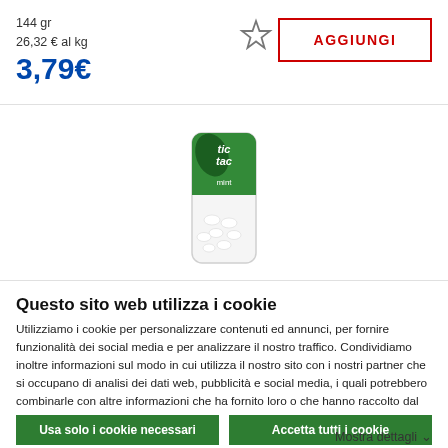144 gr
26,32 € al kg
3,79€
AGGIUNGI
[Figure (photo): Tic Tac mint product box, white with green branding, small white mint candies visible inside]
Questo sito web utilizza i cookie
Utilizziamo i cookie per personalizzare contenuti ed annunci, per fornire funzionalità dei social media e per analizzare il nostro traffico. Condividiamo inoltre informazioni sul modo in cui utilizza il nostro sito con i nostri partner che si occupano di analisi dei dati web, pubblicità e social media, i quali potrebbero combinarle con altre informazioni che ha fornito loro o che hanno raccolto dal suo utilizzo dei loro servizi.
Usa solo i cookie necessari
Accetta tutti i cookie
Mostra dettagli